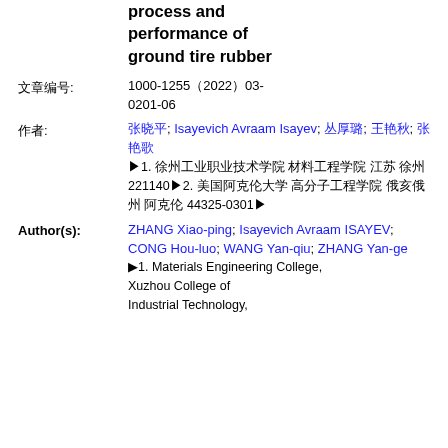process and performance of ground tire rubber
文章编号: 1000-1255（2022）03-0201-06
作者: 张晓平; Isayevich Avraam Isayev; 丛厚璐; 王艳秋; 张艳歌
▶1. 徐州工业职业技术学院 材料工程学院 江苏 徐州 221140▶2. 美国阿克伦大学 高分子工程学院 俄亥俄州 阿克伦 44325-0301▶
Author(s): ZHANG Xiao-ping; Isayevich Avraam ISAYEV; CONG Hou-luo; WANG Yan-qiu; ZHANG Yan-ge
▶1. Materials Engineering College, Xuzhou College of Industrial Technology,